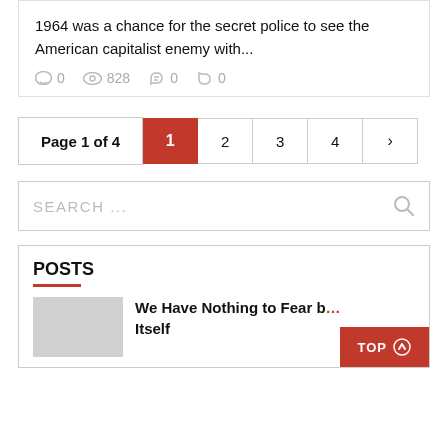1964 was a chance for the secret police to see the American capitalist enemy with...
0  828  0  0
Page 1 of 4  1  2  3  4  >
SEARCH ...
POSTS
We Have Nothing to Fear but Fear Itself